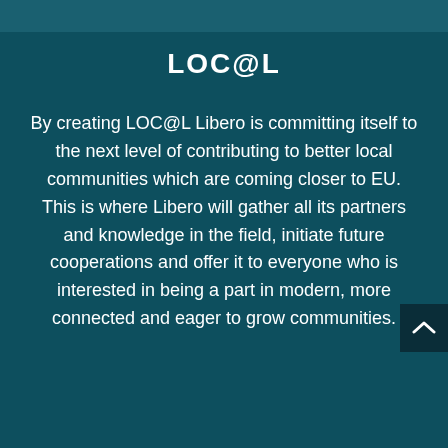LOC@L
By creating LOC@L Libero is committing itself to the next level of contributing to better local communities which are coming closer to EU. This is where Libero will gather all its partners and knowledge in the field, initiate future cooperations and offer it to everyone who is interested in being a part in modern, more connected and eager to grow communities.